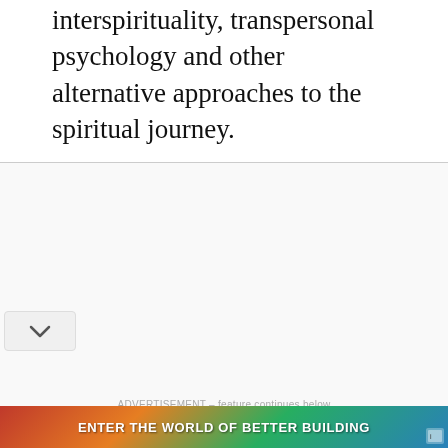interspirituality, transpersonal psychology and other alternative approaches to the spiritual journey.
ADVERTISEMENT – feature continues below
[Figure (other): Advertisement banner at bottom of page with colorful background showing text 'ENTER THE WORLD OF BETTER BUILDING']